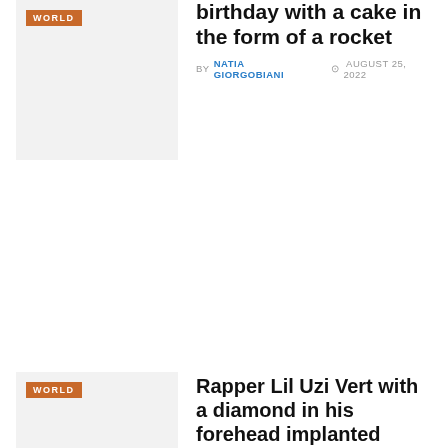[Figure (photo): Thumbnail image placeholder with WORLD badge, light grey background]
birthday with a cake in the form of a rocket
BY NATIA GIORGOBIANI  Ø AUGUST 25, 2022
[Figure (photo): Thumbnail image placeholder with WORLD badge, light grey background]
Rapper Lil Uzi Vert with a diamond in his forehead implanted diamonds in his fingers
BY NATIA GIORGOBIANI  Ø AUGUST 12, 2022
[Figure (photo): Thumbnail image placeholder with WORLD badge, light grey background]
A$AP Rocky collects fans’ bras from the stage, leaving the flag of Ukraine